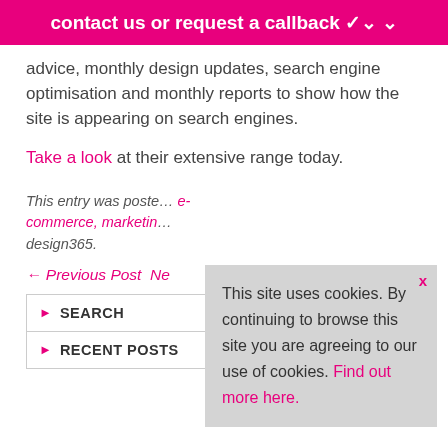contact us or request a callback ▾
advice, monthly design updates, search engine optimisation and monthly reports to show how the site is appearing on search engines.
Take a look at their extensive range today.
This entry was posted in e-commerce, marketing, design365.
← Previous Post  Ne...
SEARCH
RECENT POSTS
This site uses cookies. By continuing to browse this site you are agreeing to our use of cookies. Find out more here.